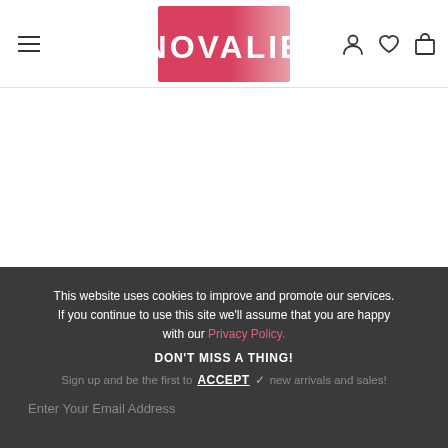[Figure (logo): NOVALIE brand logo with red/pink gradient rectangular background and white text]
This website uses cookies to improve and promote our services. If you continue to use this site we'll assume that you are happy with our Privacy Policy.
DON'T MISS A THING!
Sign up and be the first to   ACCEPT ✓  new arrivals and sales!
Enter Your Email Address